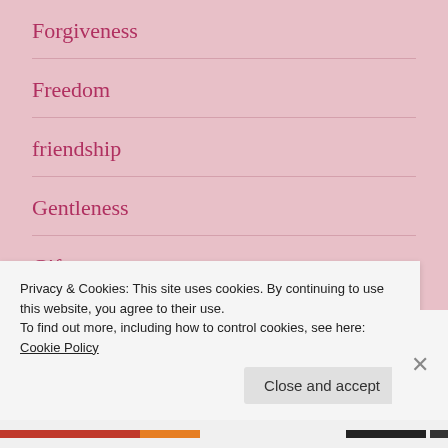Forgiveness
Freedom
friendship
Gentleness
Gifts
God's Love
Privacy & Cookies: This site uses cookies. By continuing to use this website, you agree to their use.
To find out more, including how to control cookies, see here: Cookie Policy
Close and accept